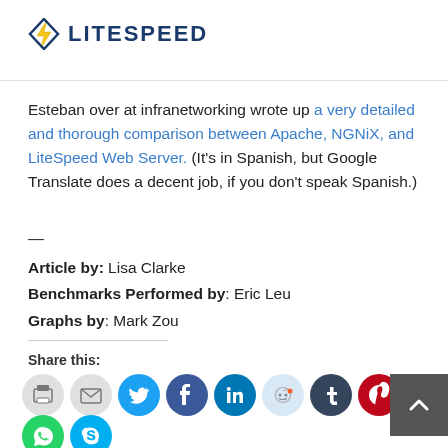[Figure (logo): LiteSpeed logo with blue lightning bolt icon and blue uppercase text LITESPEED]
Esteban over at infranetworking wrote up a very detailed and thorough comparison between Apache, NGNiX, and LiteSpeed Web Server. (It's in Spanish, but Google Translate does a decent job, if you don't speak Spanish.)
—
Article by: Lisa Clarke
Benchmarks Performed by: Eric Leu
Graphs by: Mark Zou
Share this:
[Figure (infographic): Row of social media share buttons: print, email, Twitter, Facebook, LinkedIn, Reddit, Tumblr, Pinterest, Pocket, and a back-to-top arrow button, plus WhatsApp and Skype on a second row]